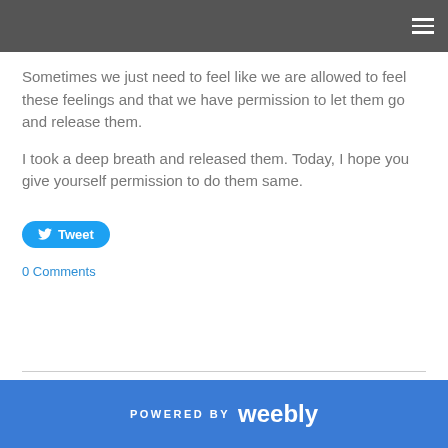Sometimes we just need to feel like we are allowed to feel these feelings and that we have permission to let them go and release them.
I took a deep breath and released them. Today, I hope you give yourself permission to do them same.
Tweet
0 Comments
POWERED BY weebly